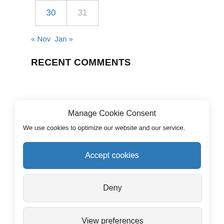| 30 | 31 |
« Nov   Jan »
RECENT COMMENTS
Manage Cookie Consent
We use cookies to optimize our website and our service.
Accept cookies
Deny
View preferences